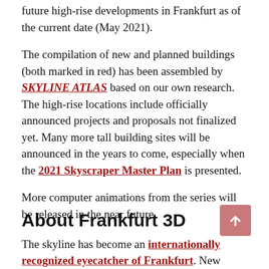future high-rise developments in Frankfurt as of the current date (May 2021).
The compilation of new and planned buildings (both marked in red) has been assembled by SKYLINE ATLAS based on our own research. The high-rise locations include officially announced projects and proposals not finalized yet. Many more tall building sites will be announced in the years to come, especially when the 2021 Skyscraper Master Plan is presented.
More computer animations from the series will be released in the near future.
About Frankfurt 3D
The skyline has become an internationally recognized eyecatcher of Frankfurt. New...